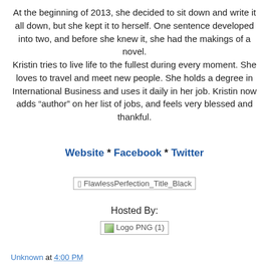At the beginning of 2013, she decided to sit down and write it all down, but she kept it to herself. One sentence developed into two, and before she knew it, she had the makings of a novel. Kristin tries to live life to the fullest during every moment. She loves to travel and meet new people. She holds a degree in International Business and uses it daily in her job. Kristin now adds “author” on her list of jobs, and feels very blessed and thankful.
Website * Facebook * Twitter
[Figure (other): Broken image placeholder labeled FlawlessPerfection_Title_Black]
Hosted By:
[Figure (other): Broken image placeholder labeled Logo PNG (1)]
Unknown at 4:00 PM